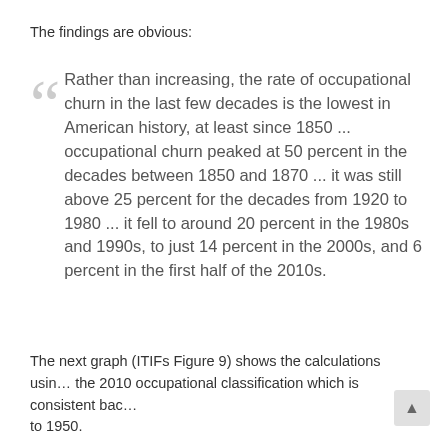The findings are obvious:
Rather than increasing, the rate of occupational churn in the last few decades is the lowest in American history, at least since 1850 ... occupational churn peaked at 50 percent in the decades between 1850 and 1870 ... it was still above 25 percent for the decades from 1920 to 1980 ... it fell to around 20 percent in the 1980s and 1990s, to just 14 percent in the 2000s, and 6 percent in the first half of the 2010s.
The next graph (ITIFs Figure 9) shows the calculations using the 2010 occupational classification which is consistent back to 1950.